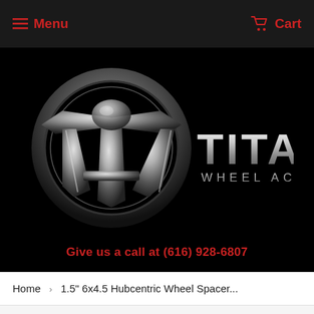Menu   Cart
[Figure (logo): Titan Wheel Accessories logo — chrome metallic T-shaped emblem inside a circular ring on black background, with 'TITAN WHEEL ACCESSORIES' text in silver metallic lettering]
Give us a call at (616) 928-6807
Home › 1.5" 6x4.5 Hubcentric Wheel Spacer...